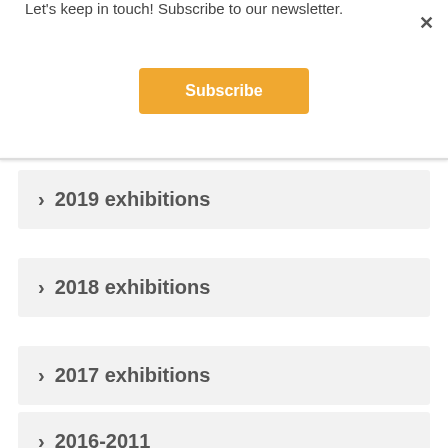Let's keep in touch! Subscribe to our newsletter.
Subscribe
2019 exhibitions
2018 exhibitions
2017 exhibitions
2016-2011